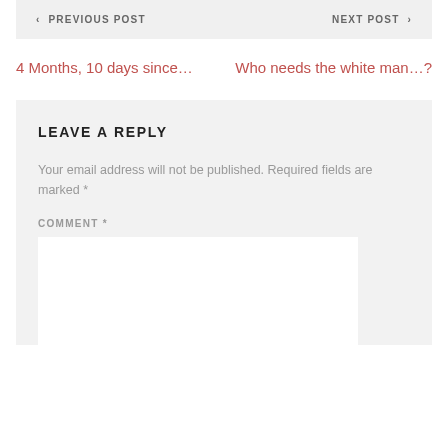< PREVIOUS POST    NEXT POST >
4 Months, 10 days since…
Who needs the white man…?
LEAVE A REPLY
Your email address will not be published. Required fields are marked *
COMMENT *